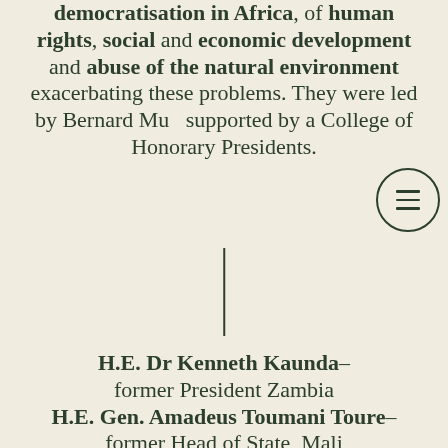democratisation in Africa, of human rights, social and economic development and abuse of the natural environment exacerbating these problems. They were led by Bernard Mu... supported by a College of Honorary Presidents.
H.E. Dr Kenneth Kaunda– former President Zambia H.E. Gen. Amadeus Toumani Toure– former Head of State, Mali H.E. Eden Kodio– former OAU